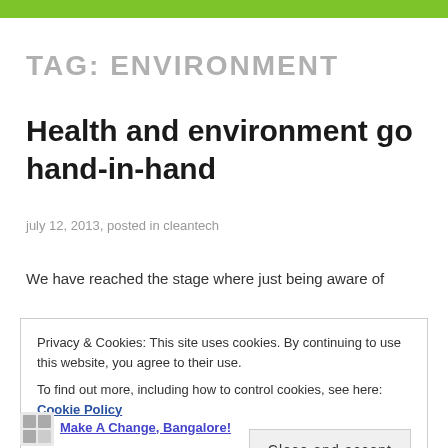TAG: ENVIRONMENT
Health and environment go hand-in-hand
july 12, 2013, posted in cleantech
We have reached the stage where just being aware of
Privacy & Cookies: This site uses cookies. By continuing to use this website, you agree to their use.
To find out more, including how to control cookies, see here: Cookie Policy
Close and accept
Make A Change, Bangalore!